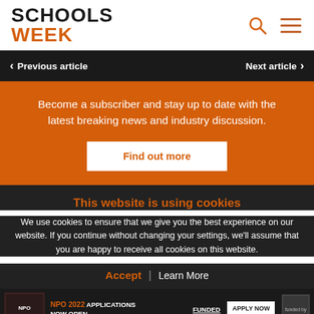SCHOOLS WEEK
Previous article | Next article
Become a subscriber and stay up to date with the latest breaking news and industry discussion.
Find out more
This website is using cookies
We use cookies to ensure that we give you the best experience on our website. If you continue without changing your settings, we'll assume that you are happy to receive all cookies on this website.
Accept | Learn More
NPO 2022 APPLICATIONS NOW OPEN | FUNDED | APPLY NOW